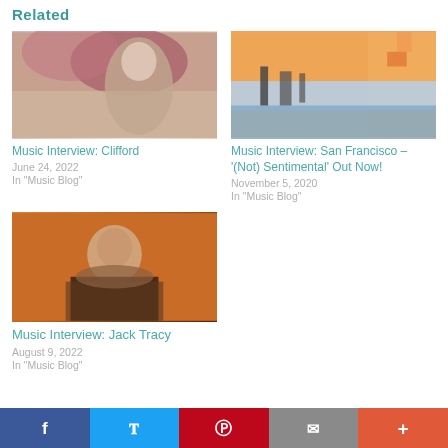Related
[Figure (photo): Photo of a young man outdoors with reddish foliage background]
Music Interview: Clifford
June 24, 2022
In "Music Blog"
[Figure (photo): Outdoor urban/sky photo with warm orange tones and city silhouette]
Music Interview: San Francisco – '(Not) Sentimental' Out Now!
November 5, 2020
In "Music Blog"
[Figure (photo): Portrait of a man in a patterned jacket against an orange background]
Music Interview: Jack Tracy
August 9, 2022
In "Music Blog"